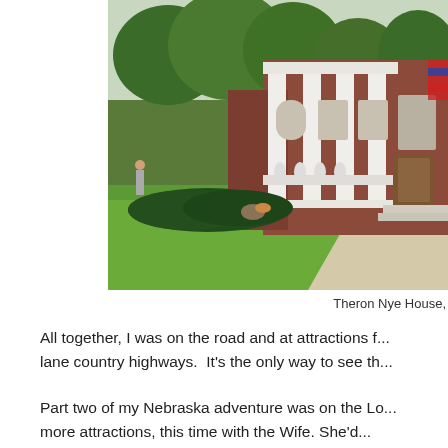[Figure (photo): Photograph of the Theron Nye House, a brick colonial-style building with large white columns, green lawn in front, and trees behind it.]
Theron Nye House,
All together, I was on the road and at attractions f... lane country highways.  It's the only way to see th...
Part two of my Nebraska adventure was on the Lo... more attractions, this time with the Wife. She'd...